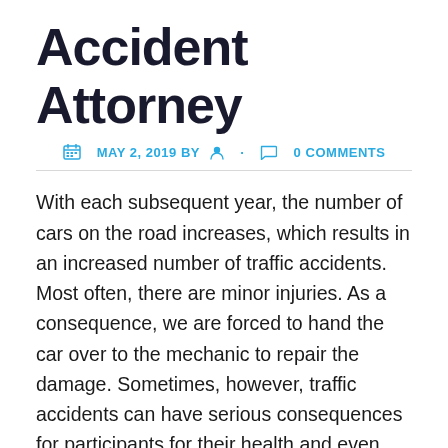Accident Attorney
MAY 2, 2019 BY · 0 COMMENTS
With each subsequent year, the number of cars on the road increases, which results in an increased number of traffic accidents. Most often, there are minor injuries. As a consequence, we are forced to hand the car over to the mechanic to repair the damage. Sometimes, however, traffic accidents can have serious consequences for participants for their health and even their lives! Anyone injured as a result of an accident, who is not at fault for this event, has the right to apply for benefits to repair the damage and harm suffered. In this article, I will describe what claims are granted to